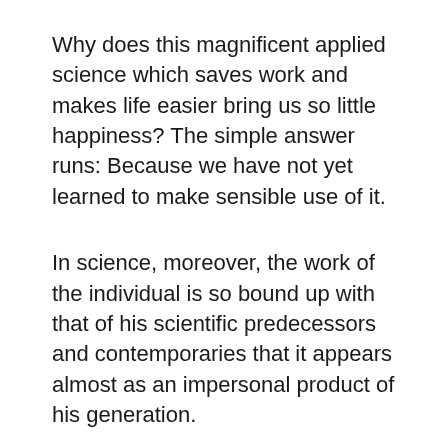Why does this magnificent applied science which saves work and makes life easier bring us so little happiness? The simple answer runs: Because we have not yet learned to make sensible use of it.
In science, moreover, the work of the individual is so bound up with that of his scientific predecessors and contemporaries that it appears almost as an impersonal product of his generation.
It has become appallingly obvious that our technology has exceeded our humanity.